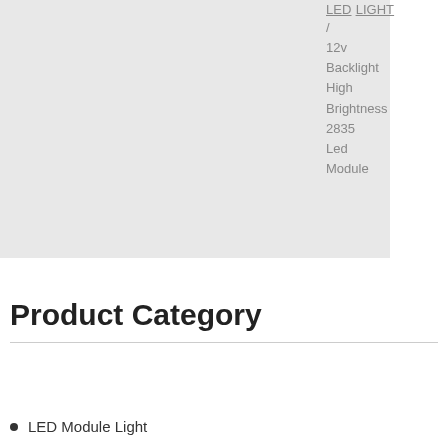[Figure (photo): Product image area showing a light grey rectangular placeholder for a product photo]
LED LIGHT / 12v Backlight High Brightness 2835 Led Module
Product Category
LED Module Light